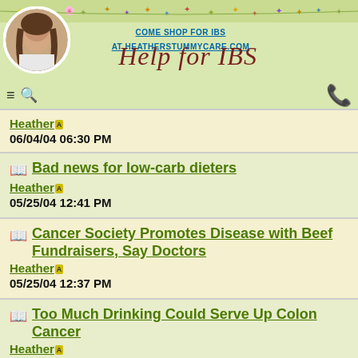[Figure (illustration): Website header for Help for IBS with floral decoration strip at top, circular portrait photo of a woman, shopping link text, and decorative script logo]
Heather | 06/04/04 06:30 PM
Bad news for low-carb dieters | Heather | 05/25/04 12:41 PM
Cancer Society Promotes Disease with Beef Fundraisers, Say Doctors | Heather | 05/25/04 12:37 PM
Too Much Drinking Could Serve Up Colon Cancer | Heather | 05/25/04 12:18 PM